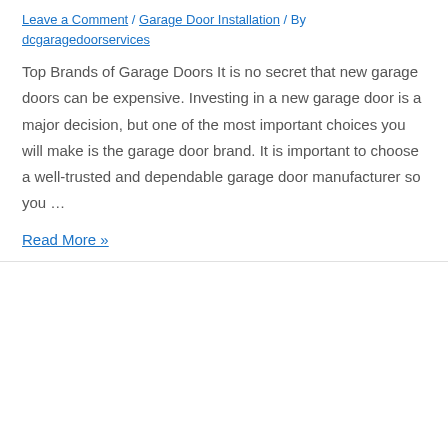Leave a Comment / Garage Door Installation / By dcgaragedoorservices
Top Brands of Garage Doors It is no secret that new garage doors can be expensive. Investing in a new garage door is a major decision, but one of the most important choices you will make is the garage door brand. It is important to choose a well-trusted and dependable garage door manufacturer so you …
Read More »